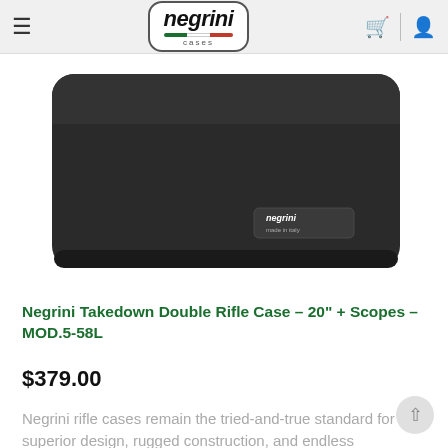negrini cases
[Figure (photo): A black rectangular hard case with rounded corners bearing the Negrini 'made in Italy' logo label on the surface, shown from a slight angle against a white background.]
Negrini Takedown Double Rifle Case – 20" + Scopes – MOD.5-58L
$379.00
Negrini rifle cases remain the tried-and-true standard for superior design, rugged construction, and endless